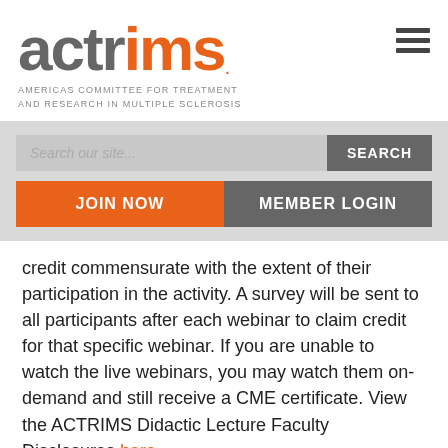[Figure (logo): ACTRIMS logo with orange and gray lettering, subtitle reading AMERICAS COMMITTEE FOR TREATMENT AND RESEARCH IN MULTIPLE SCLEROSIS]
[Figure (other): Hamburger menu icon (three horizontal bars)]
Search our site...
SEARCH
JOIN NOW
MEMBER LOGIN
credit commensurate with the extent of their participation in the activity. A survey will be sent to all participants after each webinar to claim credit for that specific webinar. If you are unable to watch the live webinars, you may watch them on-demand and still receive a CME certificate. View the ACTRIMS Didactic Lecture Faculty Disclosures here.
Registration